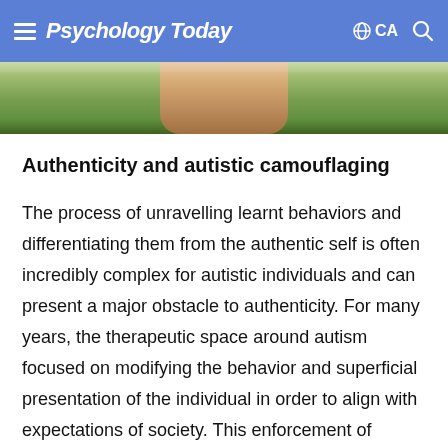Psychology Today  CA
[Figure (photo): Partial photo of a person outdoors, bottom portion visible showing upper body/head area against a green background]
Authenticity and autistic camouflaging
The process of unravelling learnt behaviors and differentiating them from the authentic self is often incredibly complex for autistic individuals and can present a major obstacle to authenticity. For many years, the therapeutic space around autism focused on modifying the behavior and superficial presentation of the individual in order to align with expectations of society. This enforcement of behavior that is not innately autistic is at odds with the concept of authenticity. There is increasing